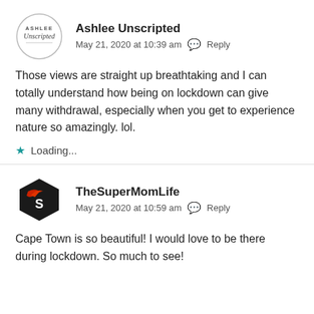[Figure (logo): Ashlee Unscripted circular logo with text inside a circle]
Ashlee Unscripted
May 21, 2020 at 10:39 am  Reply
Those views are straight up breathtaking and I can totally understand how being on lockdown can give many withdrawal, especially when you get to experience nature so amazingly. lol.
Loading...
[Figure (logo): TheSuperMomLife logo - black hexagon with red bird/wing and S letter]
TheSuperMomLife
May 21, 2020 at 10:59 am  Reply
Cape Town is so beautiful! I would love to be there during lockdown. So much to see!